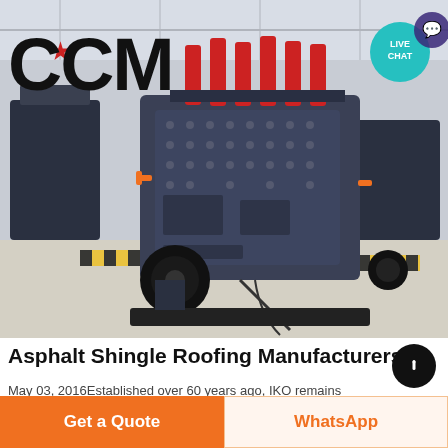[Figure (photo): Industrial machinery (impact crusher) in a factory/warehouse setting. Large dark grey machine with red hydraulic cylinders on top, black wheels, cables, yellow-black safety stripes on floor. CCM logo with red star overlaid top-left. Live Chat teal circle badge top-right.]
Asphalt Shingle Roofing Manufacturers
May 03, 2016Established over 60 years ago, IKO remains
Get a Quote
WhatsApp